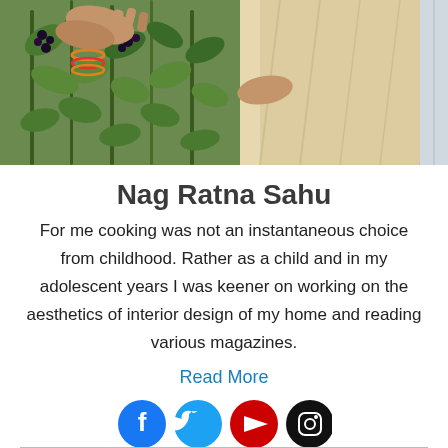[Figure (photo): A person picking or handling dark berries/grapes from a plant; the right side shows the person's arm and torso in light-colored fabric with bangles.]
Nag Ratna Sahu
For me cooking was not an instantaneous choice from childhood. Rather as a child and in my adolescent years I was keener on working on the aesthetics of interior design of my home and reading various magazines.
Read More
[Figure (illustration): Social media icons: Facebook (blue circle), Twitter (light blue circle), YouTube (red circle), Instagram (black circle)]